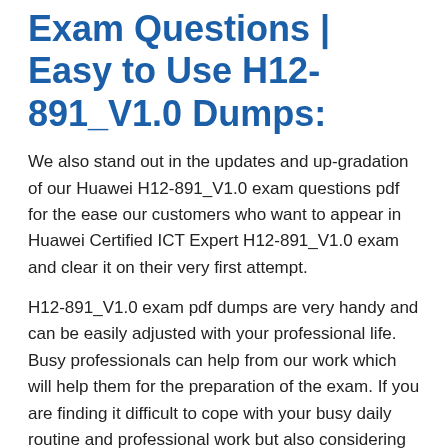Exam Questions | Easy to Use H12-891_V1.0 Dumps:
We also stand out in the updates and up-gradation of our Huawei H12-891_V1.0 exam questions pdf for the ease our customers who want to appear in Huawei Certified ICT Expert H12-891_V1.0 exam and clear it on their very first attempt.
H12-891_V1.0 exam pdf dumps are very handy and can be easily adjusted with your professional life. Busy professionals can help from our work which will help them for the preparation of the exam. If you are finding it difficult to cope with your busy daily routine and professional work but also considering preparing for the H12-891_V1.0 test, then you should consider Eyelash-Extensions certification exam services. You'll surely benefit from our material and clear the Huawei H12-891_V1.0 exam without any difficulty.
Some of the vital information of Eyelash-Extensions...